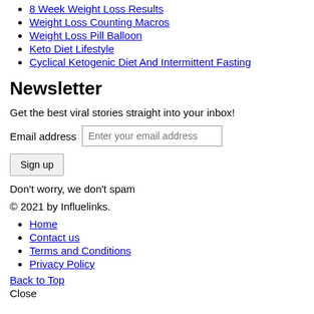8 Week Weight Loss Results
Weight Loss Counting Macros
Weight Loss Pill Balloon
Keto Diet Lifestyle
Cyclical Ketogenic Diet And Intermittent Fasting
Newsletter
Get the best viral stories straight into your inbox!
Email address [Enter your email address]
Sign up
Don't worry, we don't spam
© 2021 by Influelinks.
Home
Contact us
Terms and Conditions
Privacy Policy
Back to Top
Close